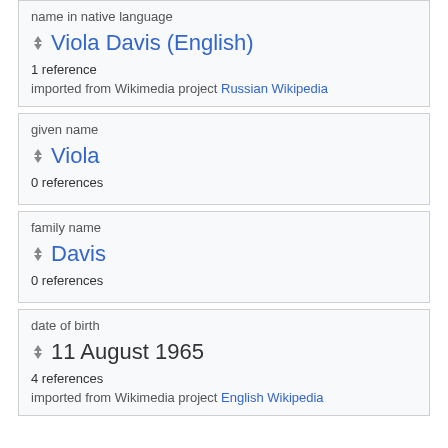name in native language
Viola Davis (English)
1 reference
imported from Wikimedia project Russian Wikipedia
given name
Viola
0 references
family name
Davis
0 references
date of birth
11 August 1965
4 references
imported from Wikimedia project English Wikipedia